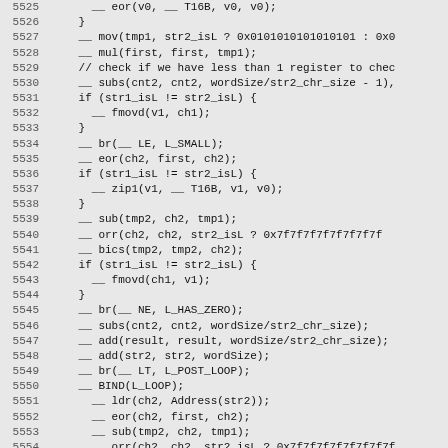[Figure (other): Source code listing showing assembly-style C++ code, lines 5525-5555, with line numbers on the left and code on the right in monospace font on a gray background.]